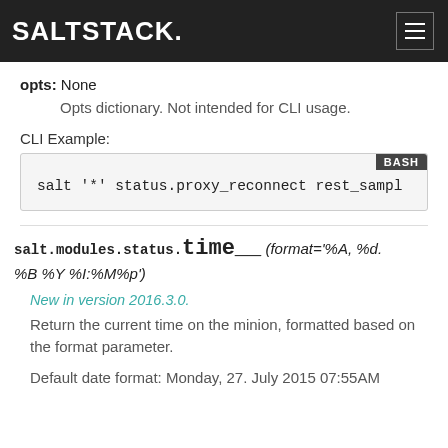SALTSTACK.
opts: None
Opts dictionary. Not intended for CLI usage.
CLI Example:
[Figure (screenshot): Code block with BASH label showing: salt '*' status.proxy_reconnect rest_sampl]
salt.modules.status.time__(format='%A, %d. %B %Y %I:%M%p')
New in version 2016.3.0.
Return the current time on the minion, formatted based on the format parameter.
Default date format: Monday, 27. July 2015 07:55AM